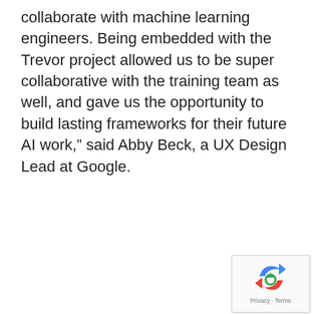collaborate with machine learning engineers. Being embedded with the Trevor project allowed us to be super collaborative with the training team as well, and gave us the opportunity to build lasting frameworks for their future AI work,” said Abby Beck, a UX Design Lead at Google.
[Figure (logo): reCAPTCHA widget with Google logo and Privacy/Terms links]